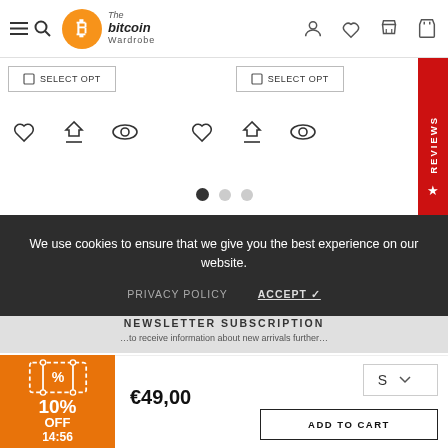The bitcoin Wardrobe - navigation header with menu, logo, user, wishlist, compare, cart icons
[Figure (screenshot): Two SELECT OPTIONS buttons and icon rows (heart, balance, eye) for product comparison/wishlist, with carousel dots and REVIEWS side tab]
We use cookies to ensure that we give you the best experience on our website.
PRIVACY POLICY   ACCEPT ✓
NEWSLETTER SUBSCRIPTION
...to receive information about new arrivals further...
€49,00
S
ADD TO CART
[Figure (infographic): Orange coupon widget showing 10% OFF with 14:56 countdown timer and ticket/receipt icon]